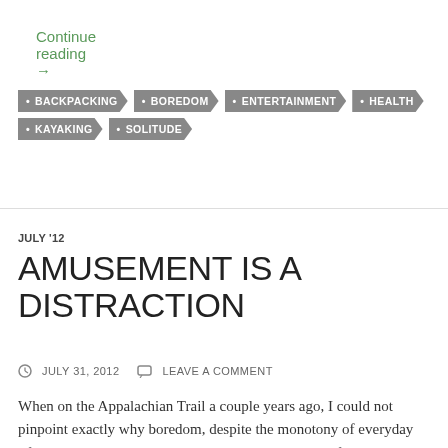Continue reading →
• BACKPACKING
• BOREDOM
• ENTERTAINMENT
• HEALTH
• KAYAKING
• SOLITUDE
JULY '12
AMUSEMENT IS A DISTRACTION
JULY 31, 2012   LEAVE A COMMENT
When on the Appalachian Trail a couple years ago, I could not pinpoint exactly why boredom, despite the monotony of everyday life alone in the woods, never overcame me. In one of